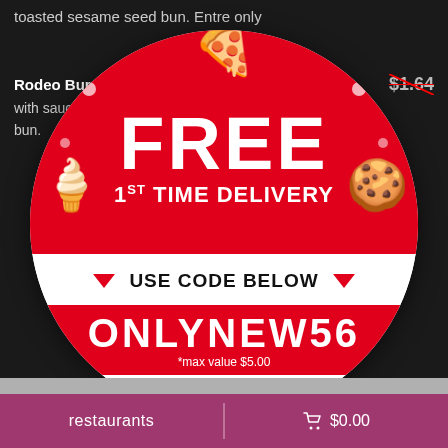toasted sesame seed bun. Entre only
Rodeo Burger features a burger topped with sauce and toasted sesame seed bun.
$1.64 (strikethrough)
[Figure (infographic): Circular coupon badge with red and white sections, food cartoon icons (pizza, ice cream, cookie), text 'FREE 1ST TIME DELIVERY', 'USE CODE BELOW', promo code 'ONLYNEW56', '*max value $5.00', and Takeout4You logo]
restaurants   🛒 $0.00